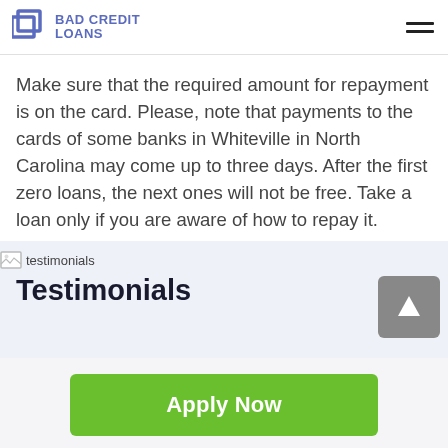BAD CREDIT LOANS
Make sure that the required amount for repayment is on the card. Please, note that payments to the cards of some banks in Whiteville in North Carolina may come up to three days. After the first zero loans, the next ones will not be free. Take a loan only if you are aware of how to repay it.
[Figure (illustration): Broken image placeholder labeled 'testimonials']
Testimonials
Apply Now
Applying does NOT affect your credit score!
No credit check to apply.